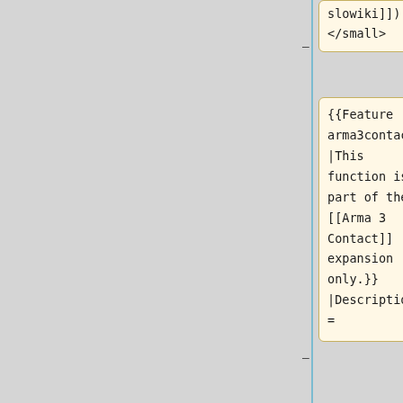slowiki]])'' </small>
[Figure (screenshot): Partial view of a blue-bordered box on the top right, likely a wiki infobox or navigation element.]
{{Feature arma3contact |This function is part of the [[Arma 3 Contact]] expansion only.}} |Description =
[Figure (screenshot): A cream/yellow code editing area with horizontal lines indicating text input rows, shown below the feature template code block.]